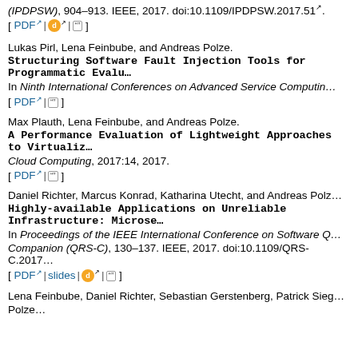(IPDPSW), 904–913. IEEE, 2017. doi:10.1109/IPDPSW.2017.51
[ PDF | doi | cite ]
Lukas Pirl, Lena Feinbube, and Andreas Polze.
Structuring Software Fault Injection Tools for Programmatic Evalu...
In Ninth International Conferences on Advanced Service Computing...
[ PDF | cite ]
Max Plauth, Lena Feinbube, and Andreas Polze.
A Performance Evaluation of Lightweight Approaches to Virtualiza...
Cloud Computing, 2017:14, 2017.
[ PDF | cite ]
Daniel Richter, Marcus Konrad, Katharina Utecht, and Andreas Polz...
Highly-available Applications on Unreliable Infrastructure: Microse...
In Proceedings of the IEEE International Conference on Software Q... Companion (QRS-C), 130–137. IEEE, 2017. doi:10.1109/QRS-C.2017...
[ PDF | slides | doi | cite ]
Lena Feinbube, Daniel Richter, Sebastian Gerstenberg, Patrick Sieg... Polze...